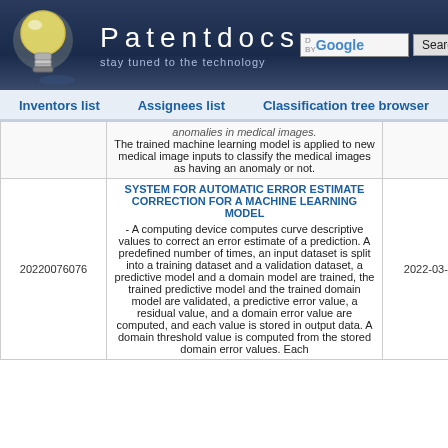[Figure (logo): Patentdocs website header with light bulb logo, site name 'Patentdocs', tagline 'stay tuned to the technology', Google search box, and Search button]
Inventors list   Assignees list   Classification tree browser
|  | Abstract | Date |
| --- | --- | --- |
|  | anomalies in medical images. The trained machine learning model is applied to new medical image inputs to classify the medical images as having an anomaly or not. |  |
| 20220076076 | SYSTEM FOR AUTOMATIC ERROR ESTIMATE CORRECTION FOR A MACHINE LEARNING MODEL - A computing device computes curve descriptive values to correct an error estimate of a prediction. A predefined number of times, an input dataset is split into a training dataset and a validation dataset, a predictive model and a domain model are trained, the trained predictive model and the trained domain model are validated, a predictive error value, a residual value, and a domain error value are computed, and each value is stored in output data. A domain threshold value is computed from the stored domain error values. Each | 2022-03-10 |